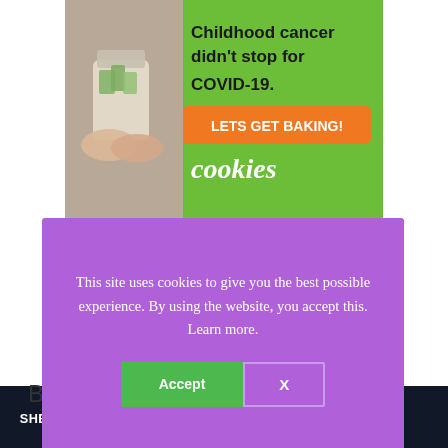[Figure (illustration): Advertisement banner with green background showing hands holding a mason jar filled with money, with text 'Childhood cancer didn't stop for COVID-19. LETS GET BAKING! cookies' and an orange CTA button]
This site uses cookies to give you the best possible experience. By using the website, you accept this. Learn more.
Accept
X
Lustrous sheen
This yarn weight is suitable for baby projects and baby blankets
[Figure (infographic): Bottom advertisement bar with dark navy background showing 'SHE CAN STEM Learn More' with STEM and Ad Council logos]